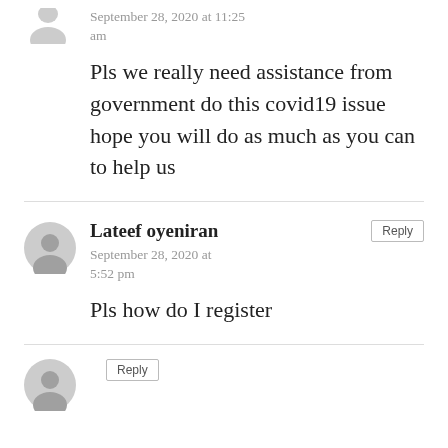September 28, 2020 at 11:25 am
Pls we really need assistance from government do this covid19 issue hope you will do as much as you can to help us
Lateef oyeniran
September 28, 2020 at 5:52 pm
Pls how do I register